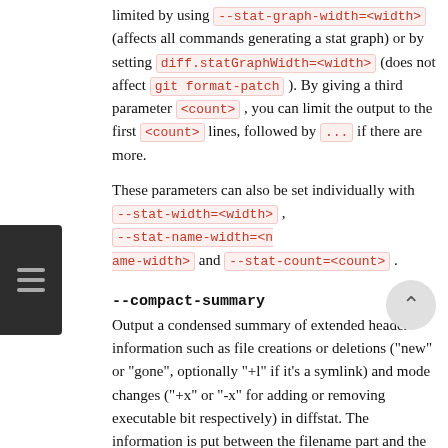limited by using --stat-graph-width=<width> (affects all commands generating a stat graph) or by setting diff.statGraphWidth=<width> (does not affect git format-patch ). By giving a third parameter <count> , you can limit the output to the first <count> lines, followed by ... if there are more.
These parameters can also be set individually with --stat-width=<width> , --stat-name-width=<name-width> and --stat-count=<count> .
--compact-summary
Output a condensed summary of extended header information such as file creations or deletions ("new" or "gone", optionally "+l" if it’s a symlink) and mode changes ("+x" or "-x" for adding or removing executable bit respectively) in diffstat. The information is put between the filename part and the graph part. Implies --stat .
--numstat
Similar to --stat ...